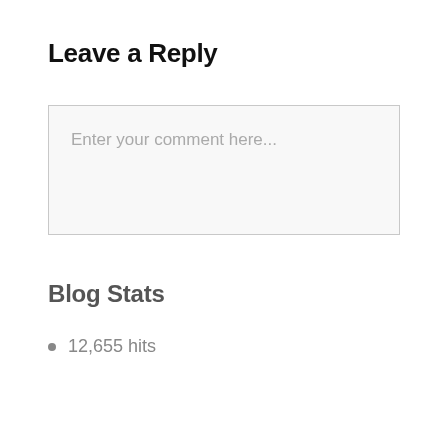Leave a Reply
Enter your comment here...
Blog Stats
12,655 hits